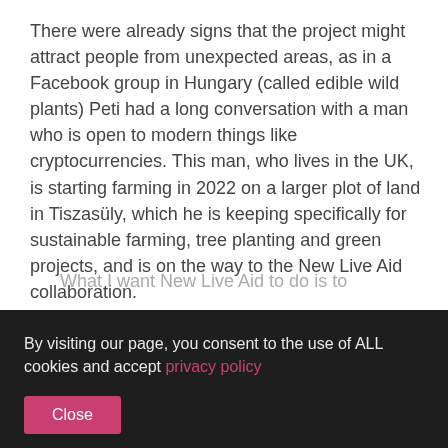There were already signs that the project might attract people from unexpected areas, as in a Facebook group in Hungary (called edible wild plants) Peti had a long conversation with a man who is open to modern things like cryptocurrencies. This man, who lives in the UK, is starting farming in 2022 on a larger plot of land in Tiszasüly, which he is keeping specifically for sustainable farming, tree planting and green projects, and is on the way to the New Live Aid collaboration.
What I want New Live Aid to do is to
By visiting our page, you consent to the use of ALL cookies and accept privacy policy
Close